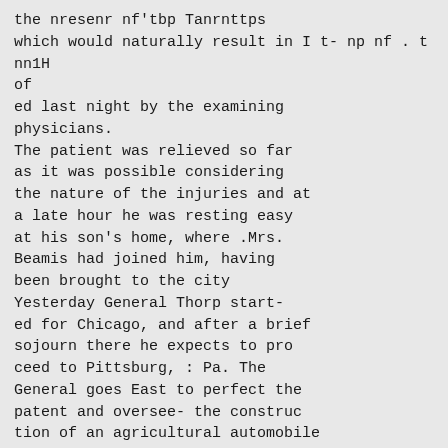the nresenr nf'tbp Tanrnttps
which would naturally result in I t- np nf . t nn1H
of
ed last night by the examining
physicians.
The patient was relieved so far
as it was possible considering
the nature of the injuries and at
a late hour he was resting easy
at his son's home, where .Mrs.
Beamis had joined him, having
been brought to the city
Yesterday General Thorp start-
ed for Chicago, and after a brief
sojourn there he expects to pro
ceed to Pittsburg, : Pa. The
General goes East to perfect the
patent and oversee- the construc
tion of an agricultural automobile
which he has invented. -
.This machine . is . very unique,
in its conception ; it is designed
for a variety, of uses. f It' is in
tended for supplying motive